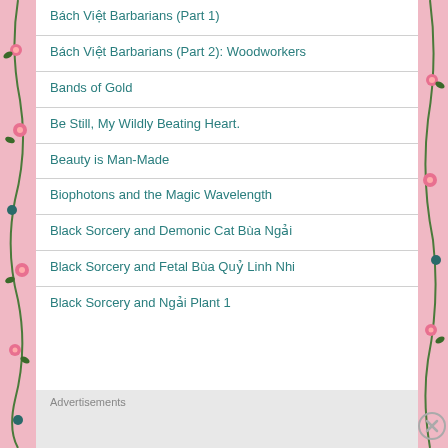Bách Việt Barbarians (Part 1)
Bách Việt Barbarians (Part 2): Woodworkers
Bands of Gold
Be Still, My Wildly Beating Heart.
Beauty is Man-Made
Biophotons and the Magic Wavelength
Black Sorcery and Demonic Cat Bùa Ngải
Black Sorcery and Fetal Bùa Quỷ Linh Nhi
Black Sorcery and Ngải Plant 1
Advertisements